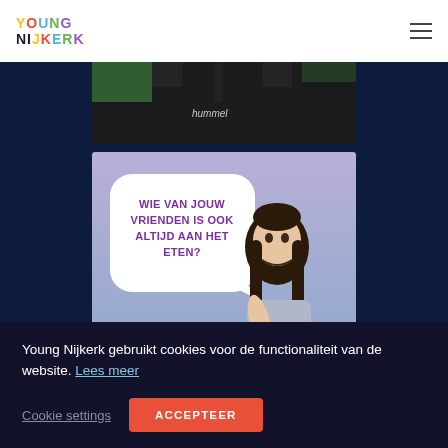[Figure (screenshot): Young Nijkerk website header with colorful logo and hamburger menu]
[Figure (photo): Partial photo of person in dark hummel sports jacket, cropped at top]
[Figure (infographic): Campaign image with light purple background, a girl eating a donut, and speech bubble text 'WIE VAN JOUW VRIENDEN IS OOK ALTIJD AAN HET ETEN?']
Young Nijkerk gebruikt cookies voor de functionaliteit van de website. Lees meer
Cookie settings
ACCEPTEER